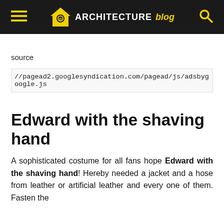ARCHITECTURE blog
source
//pagead2.googlesyndication.com/pagead/js/adsbygoogle.js
Edward with the shaving hand
A sophisticated costume for all fans hope Edward with the shaving hand! Hereby needed a jacket and a hose from leather or artificial leather and every one of them. Fasten the